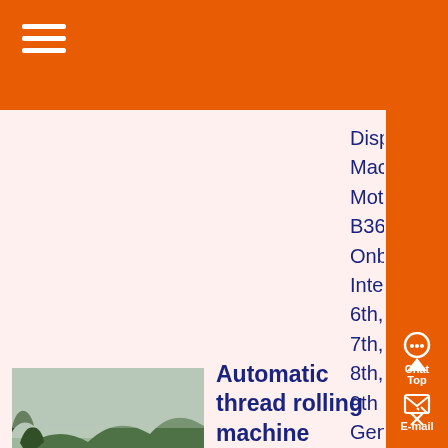Dispenser Machine, Motherboard B365/B250/H310c Onboard Intel 6th, 7th, 8th, 9th Generation Processor 17 19 System Board Computer ,...
[Figure (photo): Exterior view of an industrial or manufacturing facility building with a green metal roof, surrounded by trees and vegetation in a hilly/mountainous area with mist in the background.]
Automatic thread rolling machine manufacturer in China
,
Know More